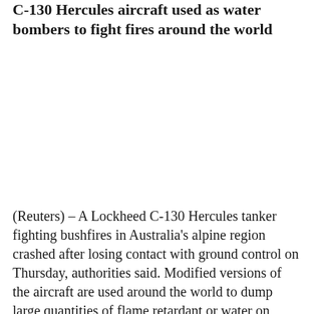C-130 Hercules aircraft used as water bombers to fight fires around the world
(Reuters) – A Lockheed C-130 Hercules tanker fighting bushfires in Australia's alpine region crashed after losing contact with ground control on Thursday, authorities said. Modified versions of the aircraft are used around the world to dump large quantities of flame retardant or water on wildfires.